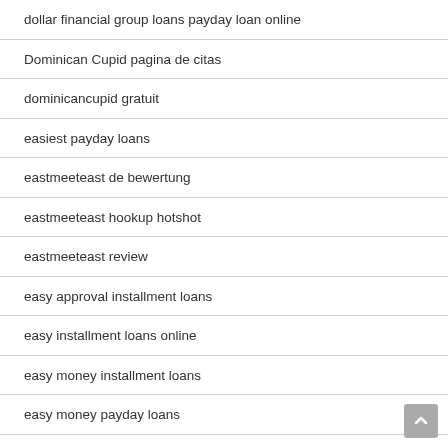dollar financial group loans payday loan online
Dominican Cupid pagina de citas
dominicancupid gratuit
easiest payday loans
eastmeeteast de bewertung
eastmeeteast hookup hotshot
eastmeeteast review
easy approval installment loans
easy installment loans online
easy money installment loans
easy money payday loans
easy online payday loans